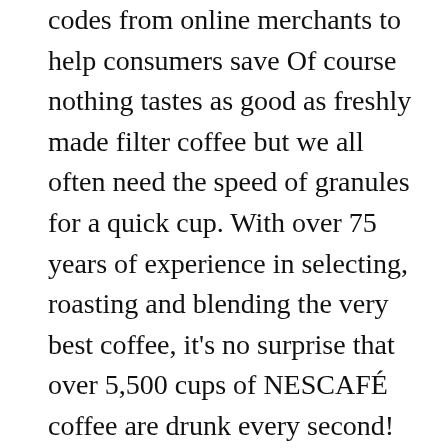codes from online merchants to help consumers save Of course nothing tastes as good as freshly made filter coffee but we all often need the speed of granules for a quick cup. With over 75 years of experience in selecting, roasting and blending the very best coffee, it's no surprise that over 5,500 cups of NESCAFÉ coffee are drunk every second! Shop in store or online. $39.49. 11 new for shopping The result is a delightful coffee shop-style drink that can be prepared and enjoyed in moments. I purchased this based on the description, as a quick alternative to freshly ground coffee. This premium instant coffee is made using dark-roasted, pure Arabica beans from Latin America for a delicious coffee with a